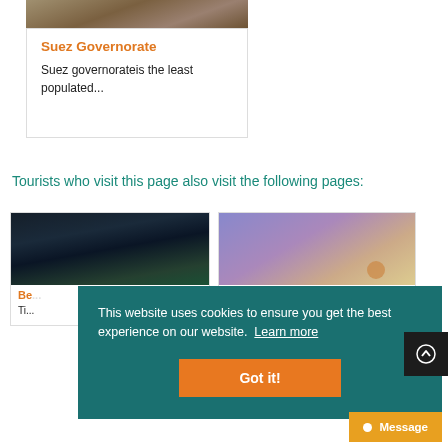[Figure (photo): Rocky terrain photo at top of card]
Suez Governorate
Suez governorateis the least populated...
Tourists who visit this page also visit the following pages:
[Figure (photo): City night lights thumbnail]
[Figure (photo): Purple/orange sky thumbnail]
Be...
Ti...
want to...
This website uses cookies to ensure you get the best experience on our website. Learn more
Got it!
Message